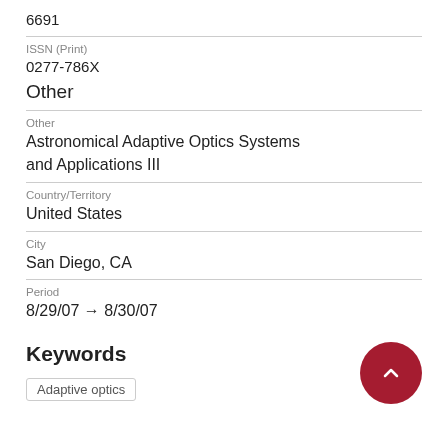6691
ISSN (Print)
0277-786X
Other
Other
Astronomical Adaptive Optics Systems and Applications III
Country/Territory
United States
City
San Diego, CA
Period
8/29/07 → 8/30/07
Keywords
Adaptive optics